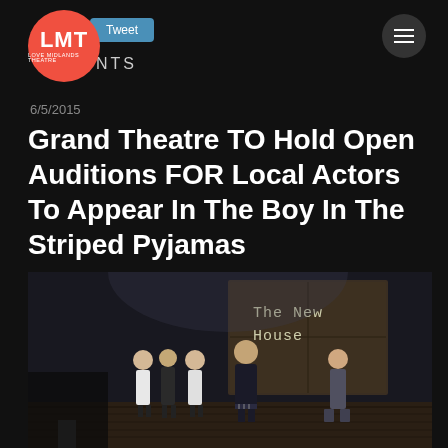LMT LOVE MIDLANDS THEATRE | Tweet | NTS
6/5/2015
Grand Theatre TO Hold Open Auditions FOR Local Actors To Appear In The Boy In The Striped Pyjamas
[Figure (photo): Stage production photo showing actors on a dark stage with text 'The New House' projected/displayed on a wooden panel background. A young boy in a dark coat stands center stage with several other cast members nearby.]